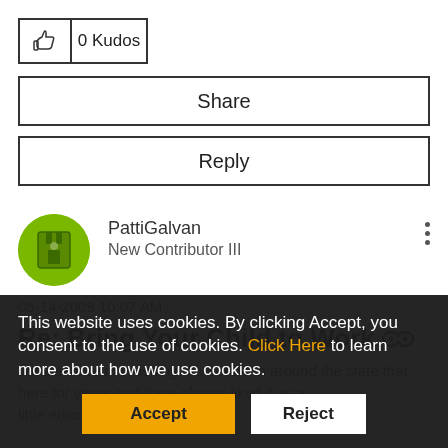[Figure (other): Kudos button with thumbs-up icon showing 0 Kudos]
Share
Reply
[Figure (other): User avatar - green circle with castle/shield icon]
PattiGalvan
New Contributor III
05-14-2009 10:07 AM
Re: Bring Your Child to Work
Jobs at Arco in Washington, but been around the state that here for years and have always liked it as a little educational program for
This website uses cookies. By clicking Accept, you consent to the use of cookies. Click Here to learn more about how we use cookies.
Accept
Reject